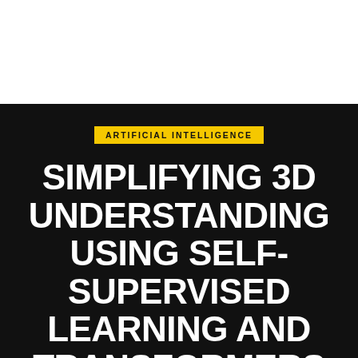ARTIFICIAL INTELLIGENCE
SIMPLIFYING 3D UNDERSTANDING USING SELF-SUPERVISED LEARNING AND TRANSFORMERS
RELAY   OCTOBER 9, 2021